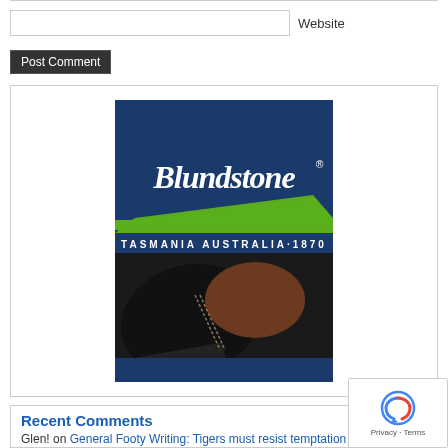Website
Post Comment
[Figure (logo): Blundstone advertisement image showing the Blundstone logo in white script on a dark navy blue background with a green chevron/swoosh underneath. Text reads 'TASMANIA AUSTRALIA 1870'. Below the logo section is a close-up photo of black and brown leather Blundstone boots.]
Recent Comments
Glen! on General Footy Writing: Tigers must resist temptation to